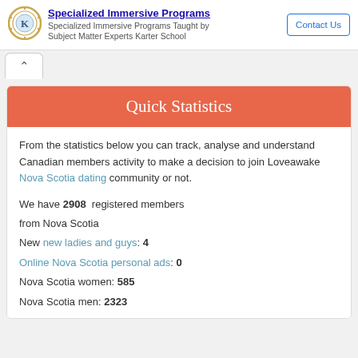[Figure (logo): Karter School logo - circular badge with K letter]
Specialized Immersive Programs
Specialized Immersive Programs Taught by Subject Matter Experts Karter School
Contact Us
Quick Statistics
From the statistics below you can track, analyse and understand Canadian members activity to make a decision to join Loveawake Nova Scotia dating community or not.
We have 2908 registered members from Nova Scotia
New new ladies and guys: 4
Online Nova Scotia personal ads: 0
Nova Scotia women: 585
Nova Scotia men: 2323